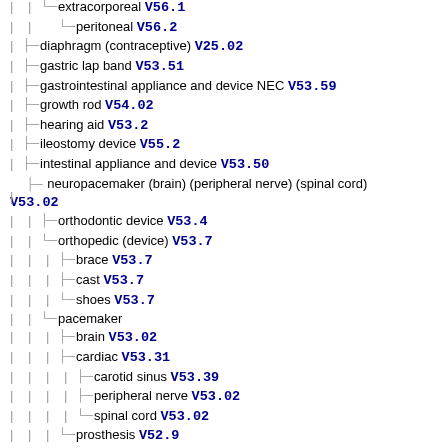extracorporeal V56.1
peritoneal V56.2
diaphragm (contraceptive) V25.02
gastric lap band V53.51
gastrointestinal appliance and device NEC V53.59
growth rod V54.02
hearing aid V53.2
ileostomy device V55.2
intestinal appliance and device V53.50
neuropacemaker (brain) (peripheral nerve) (spinal cord) V53.02
orthodontic device V53.4
orthopedic (device) V53.7
brace V53.7
cast V53.7
shoes V53.7
pacemaker
brain V53.02
cardiac V53.31
carotid sinus V53.39
peripheral nerve V53.02
spinal cord V53.02
prosthesis V52.9